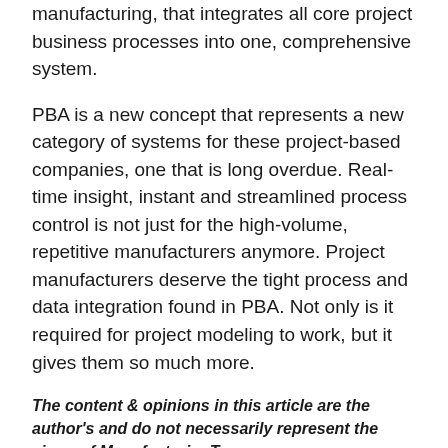manufacturing, that integrates all core project business processes into one, comprehensive system.
PBA is a new concept that represents a new category of systems for these project-based companies, one that is long overdue. Real-time insight, instant and streamlined process control is not just for the high-volume, repetitive manufacturers anymore. Project manufacturers deserve the tight process and data integration found in PBA. Not only is it required for project modeling to work, but it gives them so much more.
The content & opinions in this article are the author's and do not necessarily represent the views of ManufacturingTomorrow